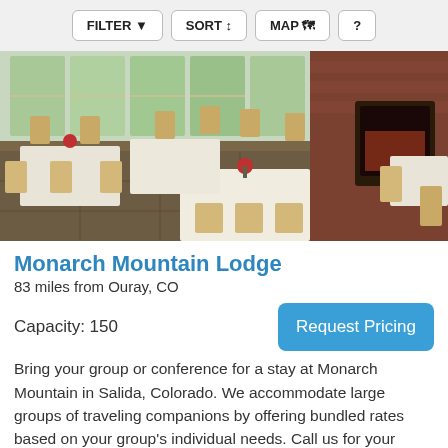FILTER  SORT  MAP  ?
[Figure (photo): Interior of a restaurant/lodge dining area with light wood chairs, white tablecloths, red flower centerpieces, large windows with mountain/tree views, and a fireplace on the right side.]
Monarch Mountain Lodge
83 miles from Ouray, CO
Capacity: 150
Request Pricing
Bring your group or conference for a stay at Monarch Mountain in Salida, Colorado. We accommodate large groups of traveling companions by offering bundled rates based on your group's individual needs. Call us for your customized offer. Conf...